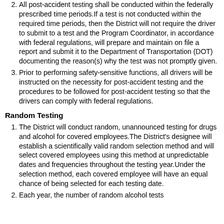All post-accident testing shall be conducted within the federally prescribed time periods.If a test is not conducted within the required time periods, then the District will not require the driver to submit to a test and the Program Coordinator, in accordance with federal regulations, will prepare and maintain on file a report and submit it to the Department of Transportation (DOT) documenting the reason(s) why the test was not promptly given.
Prior to performing safety-sensitive functions, all drivers will be instructed on the necessity for post-accident testing and the procedures to be followed for post-accident testing so that the drivers can comply with federal regulations.
Random Testing
The District will conduct random, unannounced testing for drugs and alcohol for covered employees.The District's designee will establish a scientifically valid random selection method and will select covered employees using this method at unpredictable dates and frequencies throughout the testing year.Under the selection method, each covered employee will have an equal chance of being selected for each testing date.
Each year, the number of random alcohol tests